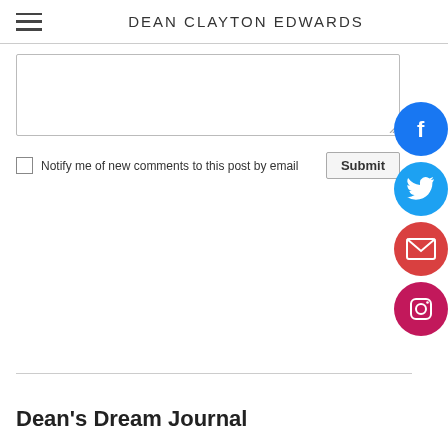DEAN CLAYTON EDWARDS
Notify me of new comments to this post by email
Submit
[Figure (illustration): Social media icons: Facebook (blue circle with f), Twitter (cyan circle with bird), Email (red circle with envelope), Instagram (pink circle with camera)]
Dean's Dream Journal